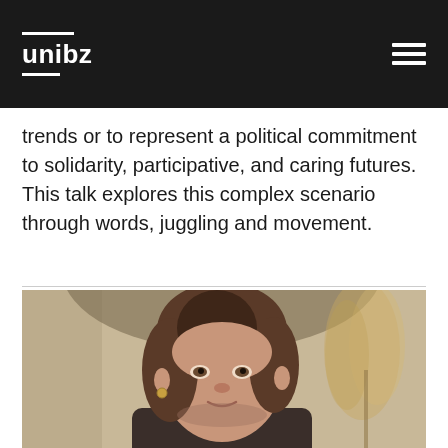unibz
trends or to represent a political commitment to solidarity, participative, and caring futures. This talk explores this complex scenario through words, juggling and movement.
[Figure (photo): Portrait photograph of a woman with shoulder-length brown hair, wearing a dark top, smiling slightly, with a soft beige background featuring dried pampas grass.]